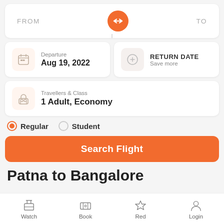[Figure (screenshot): Flight search form showing FROM/TO swap button with orange circle]
Departure
Aug 19, 2022
RETURN DATE
Save more
Travellers & Class
1 Adult, Economy
Regular
Student
Search Flight
Patna to Bangalore
Watch   Book   Red   Login